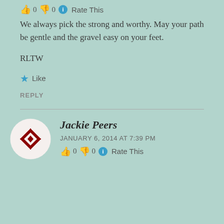👍 0 👎 0 ℹ Rate This
We always pick the strong and worthy. May your path be gentle and the gravel easy on your feet.
RLTW
★ Like
REPLY
Jackie Peers
JANUARY 6, 2014 AT 7:39 PM
👍 0 👎 0 ℹ Rate This